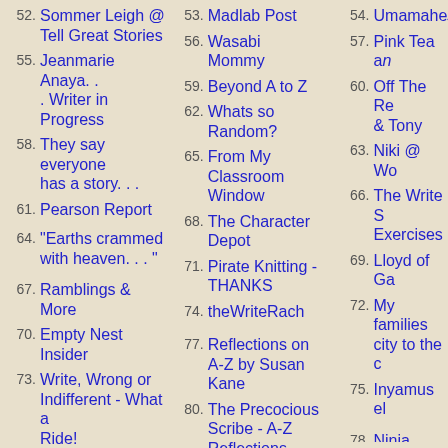52. Sommer Leigh @ Tell Great Stories
55. Jeanmarie Anaya. . . Writer in Progress
58. They say everyone has a story. . .
61. Pearson Report
64. "Earths crammed with heaven. . . "
67. Ramblings & More
70. Empty Nest Insider
73. Write, Wrong or Indifferent - What a Ride!
76. creatively spilt ink
79. Encouragement for Christian Writers
53. Madlab Post
56. Wasabi Mommy
59. Beyond A to Z
62. Whats so Random?
65. From My Classroom Window
68. The Character Depot
71. Pirate Knitting - THANKS
74. theWriteRach
77. Reflections on A-Z by Susan Kane
80. The Precocious Scribe - A-Z Reflections
54. Umamahe...
57. Pink Tea a...
60. Off The Re... & Tony
63. Niki @ Wo...
66. The Write S... Exercises
69. Lloyd of Ga...
72. My families... city to the c...
75. Inyamus el...
78. Ninja Capta... Cavanaugh...
81. begin. . . be...